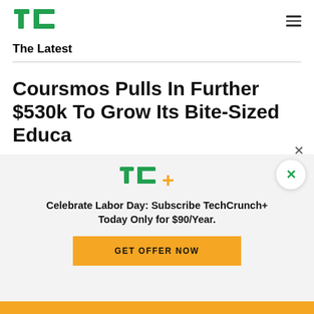TC [logo] — hamburger menu
The Latest
Coursmos Pulls In Further $530k To Grow Its Bite-Sized Education Platform
[Figure (logo): TechCrunch TC+ logo in green with gold plus sign]
Celebrate Labor Day: Subscribe TechCrunch+ Today Only for $90/Year.
GET OFFER NOW